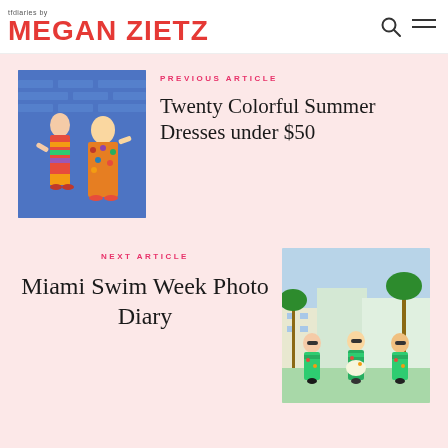tfdiaries by MEGAN ZIETZ
[Figure (photo): Two girls posing in colorful summer dresses against a blue brick wall]
PREVIOUS ARTICLE
Twenty Colorful Summer Dresses under $50
NEXT ARTICLE
Miami Swim Week Photo Diary
[Figure (photo): Three girls in matching tropical print swimsuits standing by a pool with palm trees]